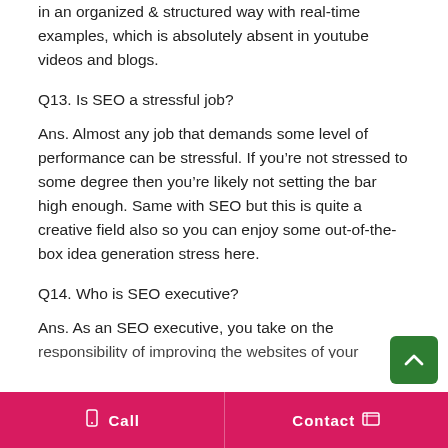in an organized & structured way with real-time examples, which is absolutely absent in youtube videos and blogs.
Q13. Is SEO a stressful job?
Ans. Almost any job that demands some level of performance can be stressful. If you’re not stressed to some degree then you’re likely not setting the bar high enough. Same with SEO but this is quite a creative field also so you can enjoy some out-of-the-box idea generation stress here.
Q14. Who is SEO executive?
Ans. As an SEO executive, you take on the responsibility of improving the websites of your
Call   Contact